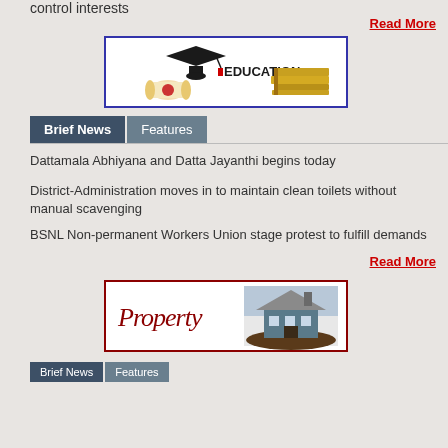control interests
Read More
[Figure (illustration): Education banner with graduation cap, diploma scroll, and stack of books with the word EDUCATION in bold]
Brief News | Features (tab bar)
Dattamala Abhiyana and Datta Jayanthi begins today
District-Administration moves in to maintain clean toilets without manual scavenging
BSNL Non-permanent Workers Union stage protest to fulfill demands
Read More
[Figure (illustration): Property banner with cursive 'Property' text and a person holding a house model]
Tab bar at bottom (partially visible)